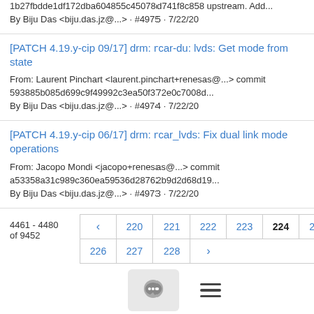1b27fbdde1df172dba604855c45078d741f8c858 upstream. Add...
By Biju Das <biju.das.jz@...> · #4975 · 7/22/20
[PATCH 4.19.y-cip 09/17] drm: rcar-du: lvds: Get mode from state
From: Laurent Pinchart <laurent.pinchart+renesas@...> commit 593885b085d699c9f49992c3ea50f372e0c7008d...
By Biju Das <biju.das.jz@...> · #4974 · 7/22/20
[PATCH 4.19.y-cip 06/17] drm: rcar_lvds: Fix dual link mode operations
From: Jacopo Mondi <jacopo+renesas@...> commit a53358a31c989c360ea59536d28762b9d2d68d19...
By Biju Das <biju.das.jz@...> · #4973 · 7/22/20
4461 - 4480 of 9452
220 221 222 223 224 225 226 227 228